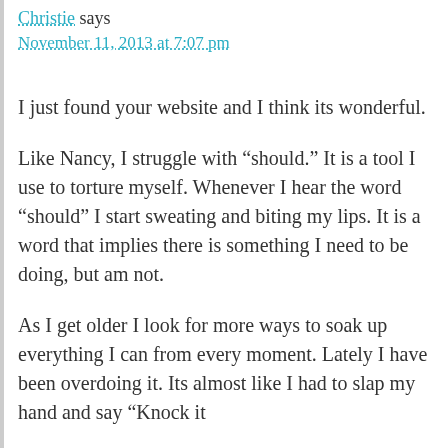Christie says
November 11, 2013 at 7:07 pm
I just found your website and I think its wonderful.
Like Nancy, I struggle with “should.” It is a tool I use to torture myself. Whenever I hear the word “should” I start sweating and biting my lips. It is a word that implies there is something I need to be doing, but am not.
As I get older I look for more ways to soak up everything I can from every moment. Lately I have been overdoing it. Its almost like I had to slap my hand and say “Knock it